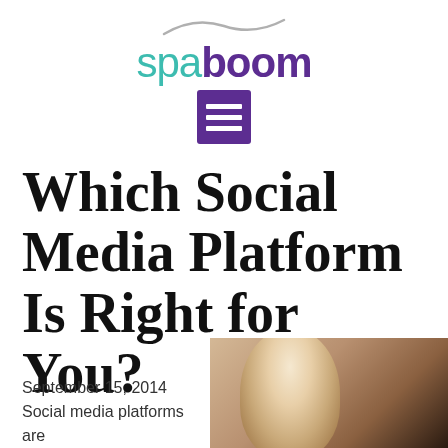[Figure (logo): Spaboom logo with teal 'spa' and purple bold 'boom' text, decorative wave above, purple menu/hamburger icon below]
Which Social Media Platform Is Right for You?
September 15, 2014
Social media platforms are
[Figure (photo): Photo of a blonde person, partially visible, dark background]